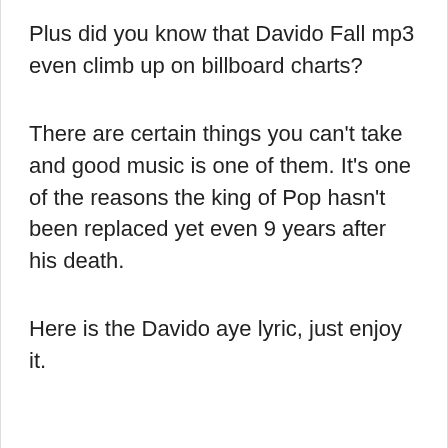Plus did you know that Davido Fall mp3 even climb up on billboard charts?
There are certain things you can't take and good music is one of them. It's one of the reasons the king of Pop hasn't been replaced yet even 9 years after his death.
Here is the Davido aye lyric, just enjoy it.
Le le le